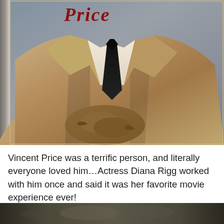[Figure (photo): Book cover or promotional image showing a man in a tan/beige suit with a dark tie and arms crossed, with 'Price' text visible in dark red at the top. The photo has a sepia/warm tone.]
Vincent Price was a terrific person, and literally everyone loved him…Actress Diana Rigg worked with him once and said it was her favorite movie experience ever!
[Figure (photo): Partial view of another photo at the bottom of the page, showing what appears to be people in a dark/low-light setting.]